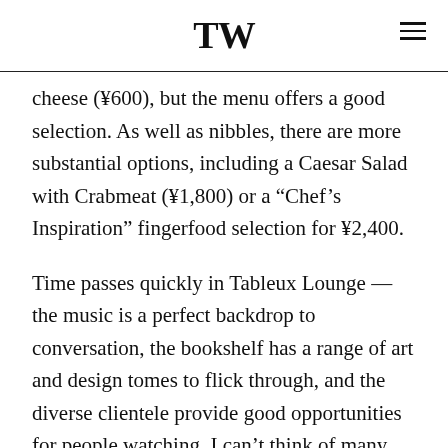TW
cheese (¥600), but the menu offers a good selection. As well as nibbles, there are more substantial options, including a Caesar Salad with Crabmeat (¥1,800) or a “Chef’s Inspiration” fingerfood selection for ¥2,400.
Time passes quickly in Tableux Lounge — the music is a perfect backdrop to conversation, the bookshelf has a range of art and design tomes to flick through, and the diverse clientele provide good opportunities for people watching. I can’t think of many better places in Tokyo to while